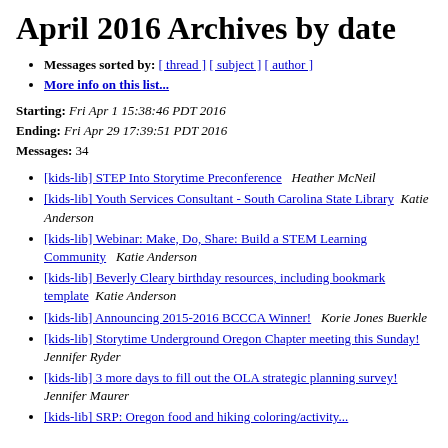April 2016 Archives by date
Messages sorted by: [ thread ] [ subject ] [ author ]
More info on this list...
Starting: Fri Apr 1 15:38:46 PDT 2016
Ending: Fri Apr 29 17:39:51 PDT 2016
Messages: 34
[kids-lib] STEP Into Storytime Preconference   Heather McNeil
[kids-lib] Youth Services Consultant - South Carolina State Library   Katie Anderson
[kids-lib] Webinar: Make, Do, Share: Build a STEM Learning Community   Katie Anderson
[kids-lib] Beverly Cleary birthday resources, including bookmark template   Katie Anderson
[kids-lib] Announcing 2015-2016 BCCCA Winner!   Korie Jones Buerkle
[kids-lib] Storytime Underground Oregon Chapter meeting this Sunday!   Jennifer Ryder
[kids-lib] 3 more days to fill out the OLA strategic planning survey!   Jennifer Maurer
[kids-lib] SRP: Oregon food and hiking coloring/activity...